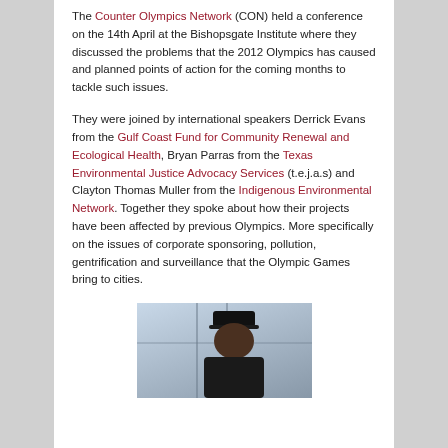The Counter Olympics Network (CON) held a conference on the 14th April at the Bishopsgate Institute where they discussed the problems that the 2012 Olympics has caused and planned points of action for the coming months to tackle such issues.
They were joined by international speakers Derrick Evans from the Gulf Coast Fund for Community Renewal and Ecological Health, Bryan Parras from the Texas Environmental Justice Advocacy Services (t.e.j.a.s) and Clayton Thomas Muller from the Indigenous Environmental Network. Together they spoke about how their projects have been affected by previous Olympics. More specifically on the issues of corporate sponsoring, pollution, gentrification and surveillance that the Olympic Games bring to cities.
[Figure (photo): A person wearing a dark cap photographed indoors near a window]